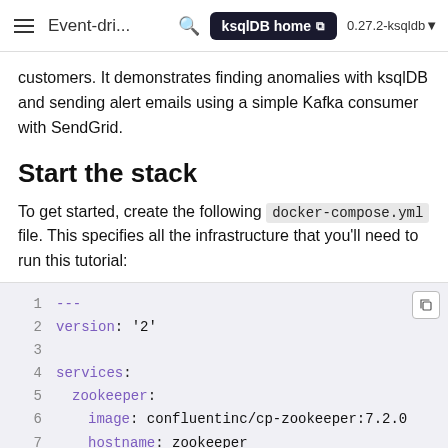Event-dri...  ksqlDB home  0.27.2-ksqldb
customers. It demonstrates finding anomalies with ksqlDB and sending alert emails using a simple Kafka consumer with SendGrid.
Start the stack
To get started, create the following docker-compose.yml file. This specifies all the infrastructure that you'll need to run this tutorial:
[Figure (screenshot): Code block showing a docker-compose.yml file with YAML content. Lines 1-7+ visible: line 1: ---, line 2: version: '2', line 3: (blank), line 4: services:, line 5: zookeeper:, line 6: image: confluentinc/cp-zookeeper:7.2.0, line 7: hostname: zookeeper]